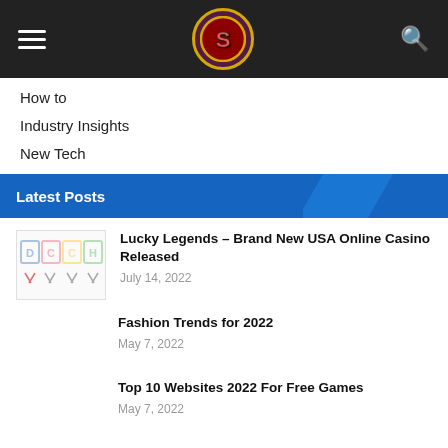Navigation header with logo
How to
Industry Insights
New Tech
Latest Posts
Lucky Legends – Brand New USA Online Casino Released
July 14, 2022
Fashion Trends for 2022
May 7, 2022
Top 10 Websites 2022 For Free Games
May 7, 2022